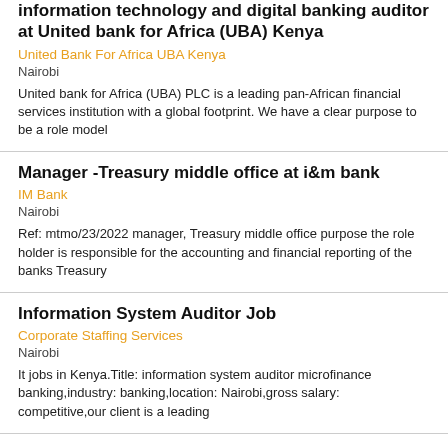Information technology and digital banking auditor at United bank for Africa (UBA) Kenya
United Bank For Africa UBA Kenya
Nairobi
United bank for Africa (UBA) PLC is a leading pan-African financial services institution with a global footprint. We have a clear purpose to be a role model
Manager -Treasury middle office at i&m bank
IM Bank
Nairobi
Ref: mtmo/23/2022 manager, Treasury middle office purpose the role holder is responsible for the accounting and financial reporting of the banks Treasury
Information System Auditor Job
Corporate Staffing Services
Nairobi
It jobs in Kenya.Title: information system auditor microfinance banking,industry: banking,location: Nairobi,gross salary: competitive,our client is a leading
Manager -Treasury middle office at i&m bank
IM Bank
Nairobi